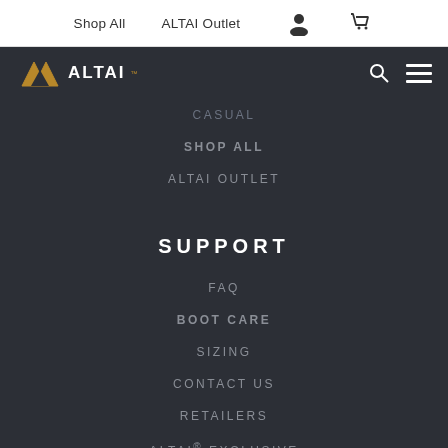Shop All   ALTAI Outlet
[Figure (logo): ALTAI brand logo with golden mountain icon and TM mark]
CASUAL
SHOP ALL
ALTAI OUTLET
SUPPORT
FAQ
BOOT CARE
SIZING
CONTACT US
RETAILERS
ALTAI® EXCLUSIVE